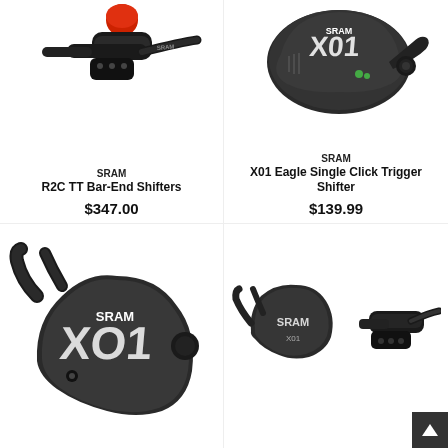[Figure (photo): SRAM R2C TT Bar-End Shifters product photo on white background]
SRAM
R2C TT Bar-End Shifters
$347.00
[Figure (photo): SRAM X01 Eagle Single Click Trigger Shifter product photo on white background]
SRAM
X01 Eagle Single Click Trigger Shifter
$139.99
[Figure (photo): SRAM X01 trigger shifter product photo on white background, bottom left]
[Figure (photo): SRAM trigger shifter pair product photo on white background, bottom right, with back-to-top button]